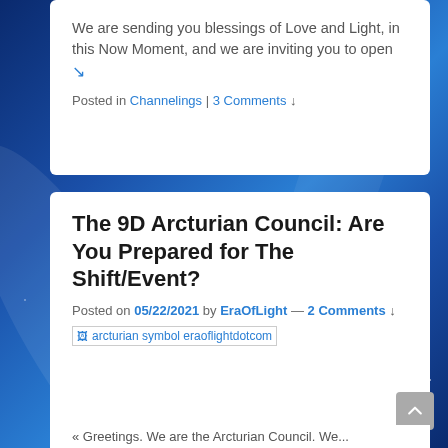We are sending you blessings of Love and Light, in this Now Moment, and we are inviting you to open ↘
Posted in Channelings | 3 Comments ↓
The 9D Arcturian Council: Are You Prepared for The Shift/Event?
Posted on 05/22/2021 by EraOfLight — 2 Comments ↓
[Figure (other): Broken image placeholder: arcturian symbol eraoflightdotcom]
« Greetings. We are the Arcturian Council. We...